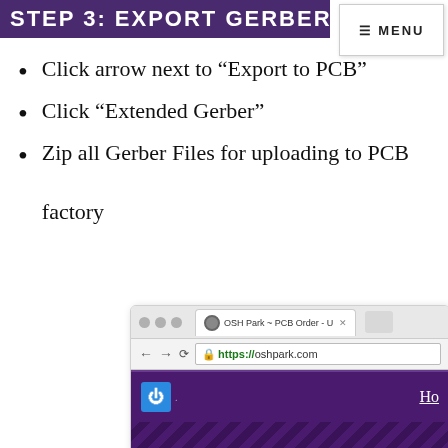STEP 3: EXPORT GERBER FILE
Click arrow next to "Export to PCB"
Click "Extended Gerber"
Zip all Gerber Files for uploading to PCB factory
[Figure (screenshot): Browser screenshot showing OSH Park PCB Order page at https://oshpark.com with purple header and power icon logo]